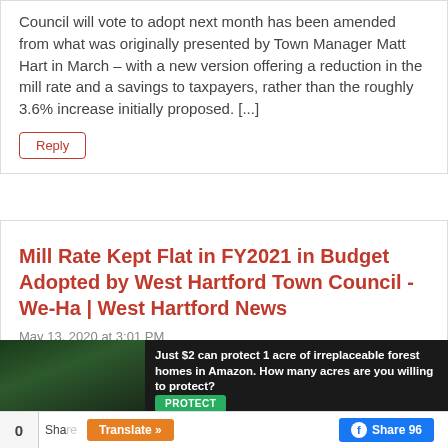Council will vote to adopt next month has been amended from what was originally presented by Town Manager Matt Hart in March – with a new version offering a reduction in the mill rate and a savings to taxpayers, rather than the roughly 3.6% increase initially proposed. [...]
Reply
Mill Rate Kept Flat in FY2021 in Budget Adopted by West Hartford Town Council - We-Ha | West Hartford News
May 13, 2020 at 3:01 PM
[...] Manager Matt Hart's original FY2021 budget proposal, delivered on March 10, was roughly $308.7 million...
[Figure (infographic): Advertisement banner: dark background with forest image on left, text 'Just $2 can protect 1 acre of irreplaceable forest homes in Amazon. How many acres are you willing to protect?' with green PROTECT button]
0 Share  Translate »  Share 96